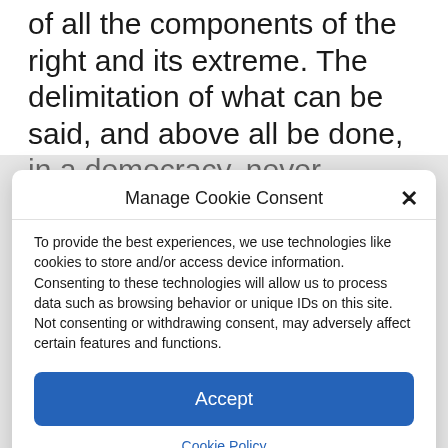of all the components of the right and its extreme. The delimitation of what can be said, and above all be done, in a democracy, never ceases to arouse irony. The blocking votes have become objects of mockery, the invocation of republican principles is assimilated to a noise of hardware.
Manage Cookie Consent
To provide the best experiences, we use technologies like cookies to store and/or access device information. Consenting to these technologies will allow us to process data such as browsing behavior or unique IDs on this site. Not consenting or withdrawing consent, may adversely affect certain features and functions.
Accept
Cookie Policy